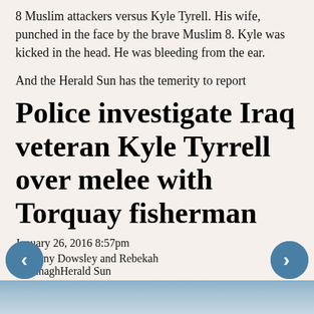8 Muslim attackers versus Kyle Tyrell. His wife, punched in the face by the brave Muslim 8. Kyle was kicked in the head. He was bleeding from the ear.
And the Herald Sun has the temerity to report
Police investigate Iraq veteran Kyle Tyrrell over melee with Torquay fisherman
January 26, 2016 8:57pm
Anthony Dowsley and Rebekah CavanaghHerald Sun
[Figure (photo): Bottom strip showing top of a photo, appears to be a person outdoors]